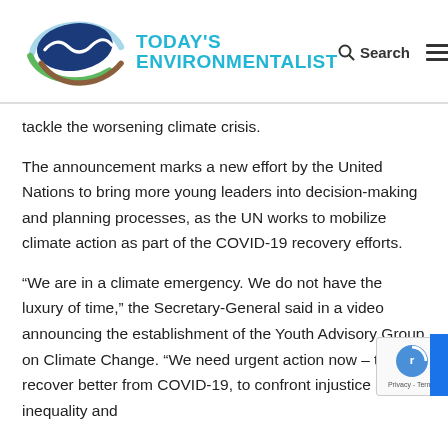[Figure (logo): Today's Environmentalist logo — eye-shaped graphic with blue, green, and brown arcs enclosing a wave and a fish shape, above cyan text reading TODAY'S ENVIRONMENTALIST]
tackle the worsening climate crisis.
The announcement marks a new effort by the United Nations to bring more young leaders into decision-making and planning processes, as the UN works to mobilize climate action as part of the COVID-19 recovery efforts.
“We are in a climate emergency. We do not have the luxury of time,” the Secretary-General said in a video announcing the establishment of the Youth Advisory Group on Climate Change. “We need urgent action now – to recover better from COVID-19, to confront injustice and inequality and